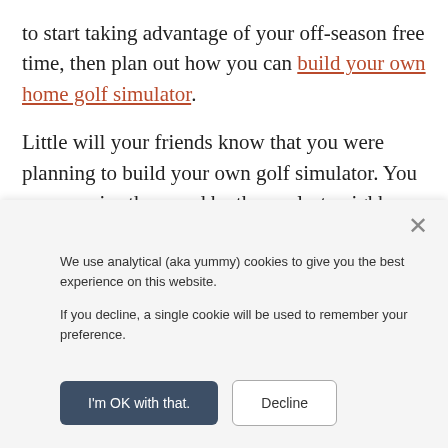to start taking advantage of your off-season free time, then plan out how you can build your own home golf simulator.
Little will your friends know that you were planning to build your own golf simulator. You can surprise them and be the coolest neighbor in the ‘hood.
Or, you just keep it a secret and don’t tell anybody. Build yourself a golf simulator at a cost you can afford and make
[Figure (screenshot): Cookie consent banner with close button (X), two paragraphs of cookie policy text, and two buttons: 'I'm OK with that.' (dark filled) and 'Decline' (outlined).]